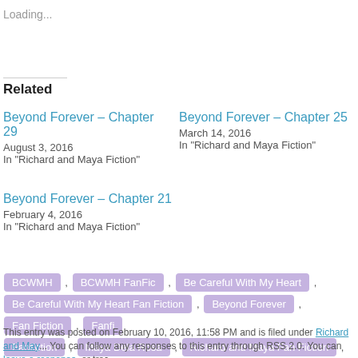Loading...
Related
Beyond Forever – Chapter 29
August 3, 2016
In "Richard and Maya Fiction"
Beyond Forever – Chapter 25
March 14, 2016
In "Richard and Maya Fiction"
Beyond Forever – Chapter 21
February 4, 2016
In "Richard and Maya Fiction"
BCWMH , BCWMH FanFic , Be Careful With My Heart , Be Careful With My Heart Fan Fiction , Beyond Forever , Fan Fiction , Fanfi... , Fanfiction , Maya Dela Rosa , Richard and Maya Fan Fiction , Richard Lim...
This entry was posted on February 10, 2016, 11:58 PM and is filed under Richard and May... You can follow any responses to this entry through RSS 2.0. You can leave a response, or trac...